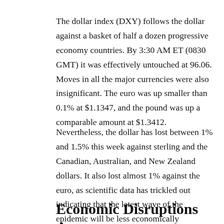The dollar index (DXY) follows the dollar against a basket of half a dozen progressive economy countries. By 3:30 AM ET (0830 GMT) it was effectively untouched at 96.06. Moves in all the major currencies were also insignificant. The euro was up smaller than 0.1% at $1.1347, and the pound was up a comparable amount at $1.3412.
Nevertheless, the dollar has lost between 1% and 1.5% this week against sterling and the Canadian, Australian, and New Zealand dollars. It also lost almost 1% against the euro, as scientific data has trickled out indicating that the latest wave of the epidemic will be less economically dangerous than previous ones. The only notable progress it has made has been against other haven currencies, like the Japanese yen and the Swiss franc.
Economic Disruptions Are